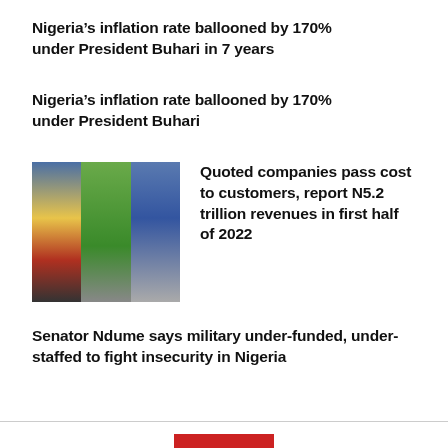Nigeria’s inflation rate ballooned by 170% under President Buhari in 7 years
Nigeria’s inflation rate ballooned by 170% under President Buhari
[Figure (photo): Collage of three images: urban industrial scene, green farmland, and city buildings]
Quoted companies pass cost to customers, report N5.2 trillion revenues in first half of 2022
Senator Ndume says military under-funded, under-staffed to fight insecurity in Nigeria